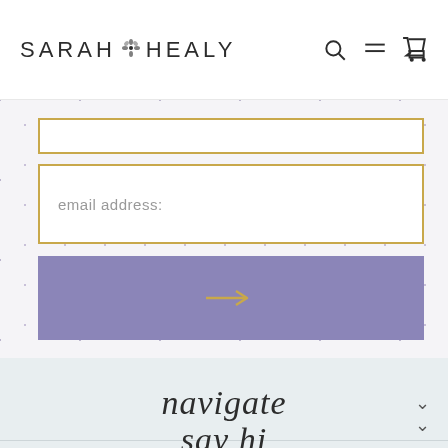SARAH HEALY
[Figure (screenshot): Email address input form field with gold border on speckled background]
email address:
[Figure (other): Purple submit button with gold arrow icon]
navigate
say hi